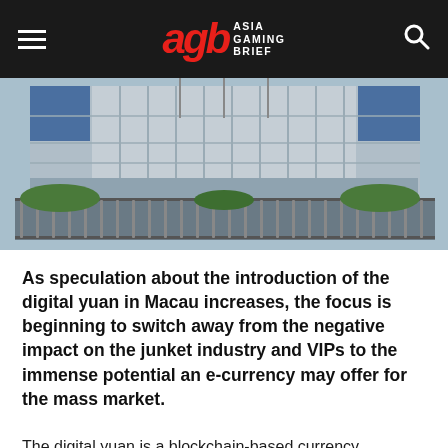Asia Gaming Brief
[Figure (photo): Exterior photograph of a large government or bank building with glass facade, columns, metal security gates, and flagpoles — likely the People's Bank of China]
As speculation about the introduction of the digital yuan in Macau increases, the focus is beginning to switch away from the negative impact on the junket industry and VIPs to the immense potential an e-currency may offer for the mass market.
The digital yuan is a blockchain-based currency, however, unlike cryptocoins, it's not decentralized and will be managed by the central People's Bank of China. It will also not be anonymous and authorities will have the capacity to track